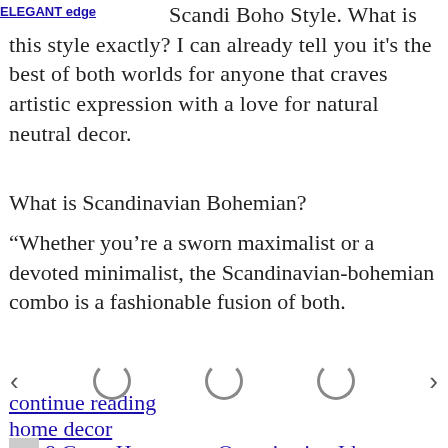ELEGANT edge
Scandi Boho Style. What is this style exactly? I can already tell you it's the best of both worlds for anyone that craves artistic expression with a love for natural neutral decor.
What is Scandinavian Bohemian?
“Whether you’re a sworn maximalist or a devoted minimalist, the Scandinavian-bohemian combo is a fashionable fusion of both.
[Figure (other): Image carousel navigation with left arrow, three loading spinner circles, and right arrow]
continue reading
home decor
8 Great Homeware Organization Ideas